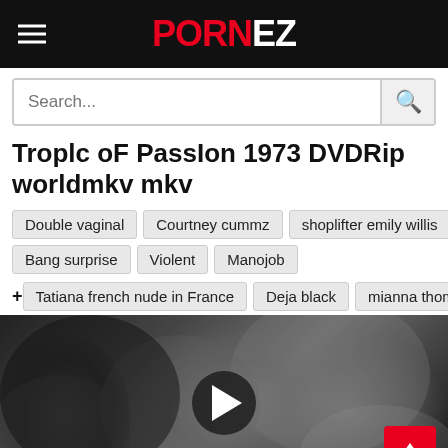PORNEZ
Search...
Troplc oF PassIon 1973 DVDRip worldmkv mkv
Double vaginal
Courtney cummz
shoplifter emily willis
Bang surprise
Violent
Manojob
Tatiana french nude in France
Deja black
mianna thomas
[Figure (screenshot): Video thumbnail showing a grayscale/black-and-white intimate scene with a play button overlay in the center and a red scroll-to-top button in the bottom right corner.]